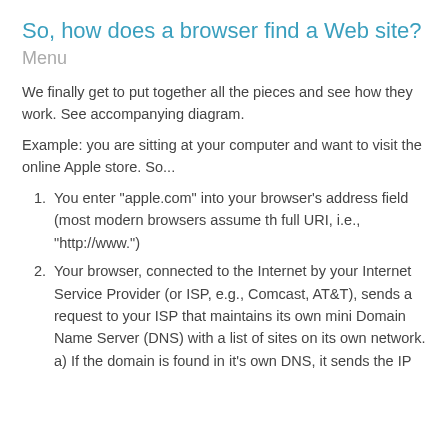So, how does a browser find a Web site? Menu
We finally get to put together all the pieces and see how they work. See accompanying diagram.
Example: you are sitting at your computer and want to visit the online Apple store. So...
1. You enter "apple.com" into your browser's address field (most modern browsers assume th full URI, i.e., "http://www.")
2. Your browser, connected to the Internet by your Internet Service Provider (or ISP, e.g., Comcast, AT&T), sends a request to your ISP that maintains its own mini Domain Name Server (DNS) with a list of sites on its own network.
a) If the domain is found in it's own DNS, it sends the IP